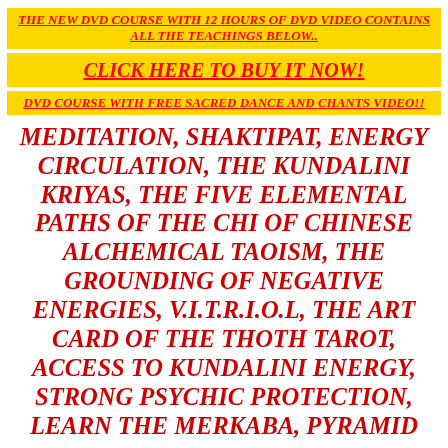THE NEW DVD COURSE WITH 12 HOURS OF DVD VIDEO CONTAINS ALL THE TEACHINGS BELOW..
CLICK HERE TO BUY IT NOW!
DVD COURSE WITH FREE SACRED DANCE AND CHANTS VIDEO!!
MEDITATION, SHAKTIPAT, ENERGY CIRCULATION, THE KUNDALINI KRIYAS, THE FIVE ELEMENTAL PATHS OF THE CHI OF CHINESE ALCHEMICAL TAOISM, THE GROUNDING OF NEGATIVE ENERGIES, V.I.T.R.I.O.L, THE ART CARD OF THE THOTH TAROT, ACCESS TO KUNDALINI ENERGY, STRONG PSYCHIC PROTECTION, LEARN THE MERKABA, PYRAMID